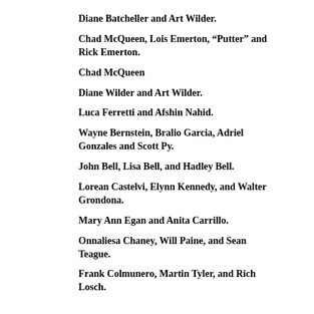Diane Batcheller and Art Wilder.
Chad McQueen, Lois Emerton, “Putter” and Rick Emerton.
Chad McQueen
Diane Wilder and Art Wilder.
Luca Ferretti and Afshin Nahid.
Wayne Bernstein, Bralio Garcia, Adriel Gonzales and Scott Py.
John Bell, Lisa Bell, and Hadley Bell.
Lorean Castelvi, Elynn Kennedy, and Walter Grondona.
Mary Ann Egan and Anita Carrillo.
Onnaliesa Chaney, Will Paine, and Sean Teague.
Frank Colmunero, Martin Tyler, and Rich Losch.